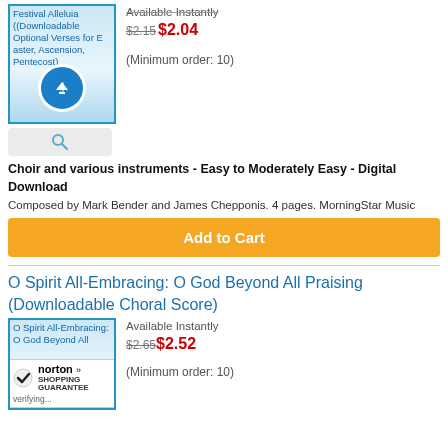[Figure (screenshot): Product thumbnail for Festival Alleluia (Downloadable Optional Verses for Easter, Ascension, Pentecost) with download icon overlay]
Available Instantly
$2.15 $2.04
(Minimum order: 10)
[Figure (screenshot): Search icon button, grey background]
Choir and various instruments - Easy to Moderately Easy - Digital Download
Composed by Mark Bender and James Chepponis. 4 pages. MorningStar Music
Add to Cart
O Spirit All-Embracing: O God Beyond All Praising (Downloadable Choral Score)
[Figure (screenshot): Product thumbnail for O Spirit All-Embracing: O God Beyond All Praising]
Available Instantly
$2.65 $2.52
(Minimum order: 10)
[Figure (logo): Norton Shopping Guarantee badge with checkmark]